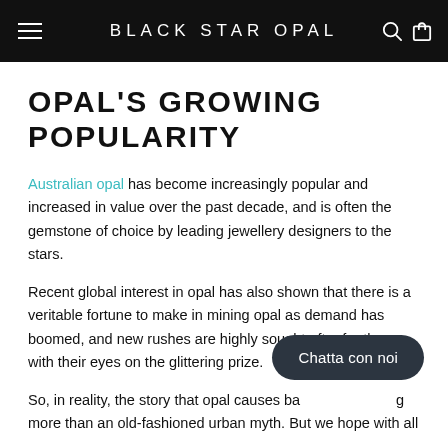BLACK STAR OPAL
OPAL'S GROWING POPULARITY
Australian opal has become increasingly popular and increased in value over the past decade, and is often the gemstone of choice by leading jewellery designers to the stars.
Recent global interest in opal has also shown that there is a veritable fortune to make in mining opal as demand has boomed, and new rushes are highly sought after for those with their eyes on the glittering prize.
So, in reality, the story that opal causes ba... g more than an old-fashioned urban myth. But we hope with all